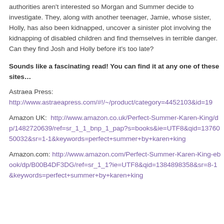authorities aren't interested so Morgan and Summer decide to investigate. They, along with another teenager, Jamie, whose sister, Holly, has also been kidnapped, uncover a sinister plot involving the kidnapping of disabled children and find themselves in terrible danger. Can they find Josh and Holly before it's too late?
Sounds like a fascinating read! You can find it at any one of these sites…
Astraea Press: http://www.astraeapress.com/#!/~/product/category=4452103&id=19
Amazon UK: http://www.amazon.co.uk/Perfect-Summer-Karen-King/dp/1482720639/ref=sr_1_1_bnp_1_pap?s=books&ie=UTF8&qid=1376050032&sr=1-1&keywords=perfect+summer+by+karen+king
Amazon.com: http://www.amazon.com/Perfect-Summer-Karen-King-ebook/dp/B00B4DF3DG/ref=sr_1_1?ie=UTF8&qid=1384898358&sr=8-1&keywords=perfect+summer+by+karen+king